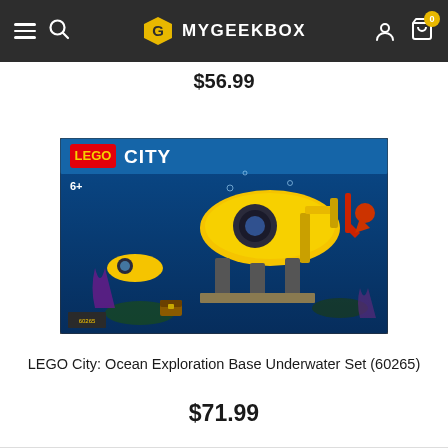MYGEEKBOX navigation bar with menu, search, logo, account, and cart (0 items)
$56.99
[Figure (photo): LEGO City 60265 Ocean Exploration Base Underwater Set product box showing underwater scene with yellow submarine base, divers, marine life, coral, and various underwater vehicles. Box displays LEGO CITY branding, 6+ age rating.]
LEGO City: Ocean Exploration Base Underwater Set (60265)
$71.99